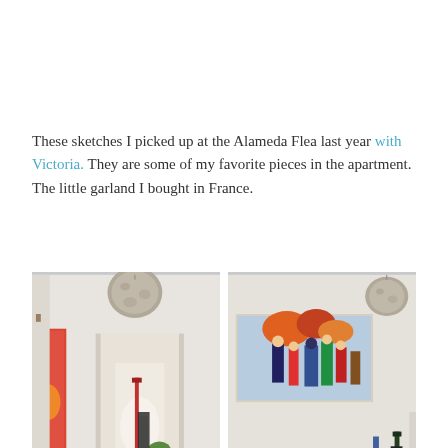These sketches I picked up at the Alameda Flea last year with Victoria. They are some of my favorite pieces in the apartment. The little garland I bought in France.
[Figure (photo): Two side-by-side interior hallway photos showing a bright white apartment hallway with colorful artwork on walls, a fluffy pendant lamp, coat hooks with scarves and bags, a runner rug, and plants visible in the background.]